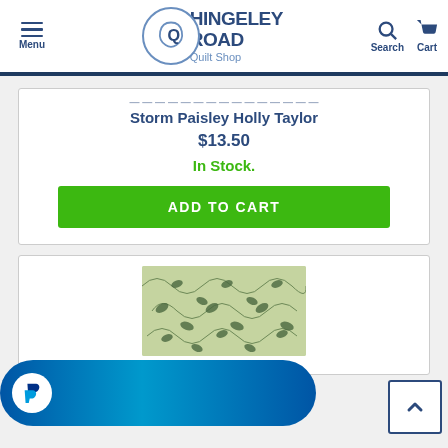Hingeley Road Quilt Shop — Menu, Search, Cart navigation
Storm Paisley Holly Taylor
$13.50
In Stock.
ADD TO CART
[Figure (photo): Fabric with green leaf/vine pattern on sage green background]
[Figure (logo): PayPal button overlay — blue gradient pill shape with PayPal P logo]